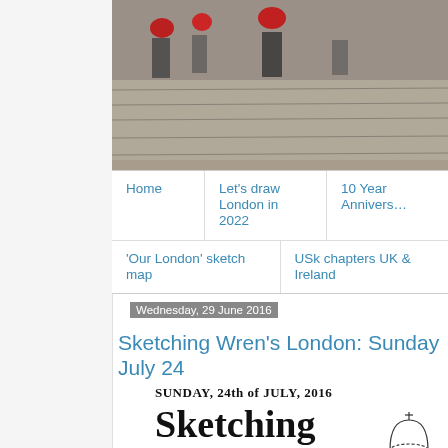[Figure (photo): Partial view of a street scene or plaza with red accents and stone/paved surface, cropped at top of page]
Home | Let's draw London in 2022 | 10 Year Annivers... | 'Our London' sketch map | USk chapters UK & Ireland
Wednesday, 29 June 2016
Sketching Wren's London: Sunday July 24
SUNDAY, 24th of JULY, 2016
Sketching Wren's London
[Figure (illustration): Partial view of a hand-drawn architectural sketch at bottom right]